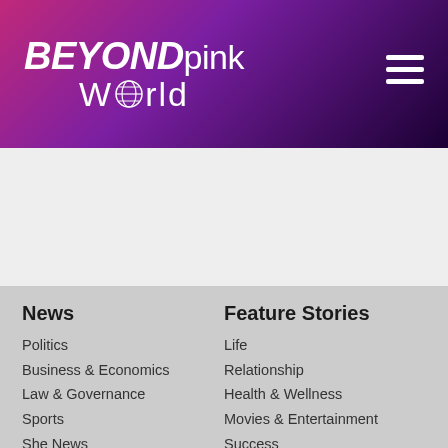BEYOND pink World
News
Politics
Business & Economics
Law & Governance
Sports
She News
Movies & Entertainment
Environment & Nature
Science & Technology
Feature Stories
Life
Relationship
Health & Wellness
Movies & Entertainment
Success
Opinion
People
Social Justice